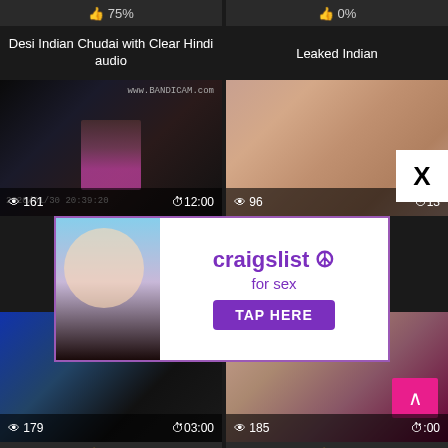👍 75%
👍 0%
Desi Indian Chudai with Clear Hindi audio
Leaked Indian
[Figure (screenshot): Video thumbnail with dark background, person in pink clothing, timestamp 2020/01/30, views 161, duration 12:00]
[Figure (screenshot): Video thumbnail with skin tones, views 96, duration partially visible 13+]
[Figure (other): Advertisement banner: craigslist for sex, TAP HERE button, purple branding]
[Figure (screenshot): Video thumbnail dark/blue tones, views 179, duration 03:00]
[Figure (screenshot): Video thumbnail with warm tones, views 185, duration partially obscured, back-to-top button overlay]
👍 100%
👍 66%
fucked my big ass indian gf
scandle tape indian leaked